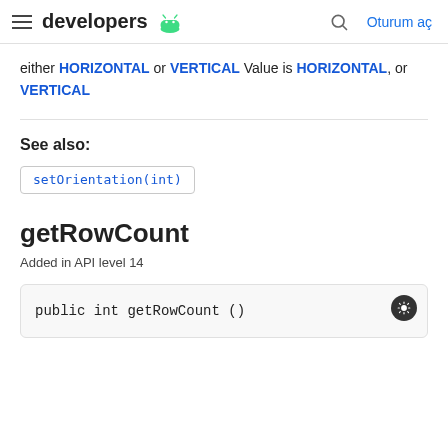developers | Oturum aç
either HORIZONTAL or VERTICAL Value is HORIZONTAL, or VERTICAL
See also:
setOrientation(int)
getRowCount
Added in API level 14